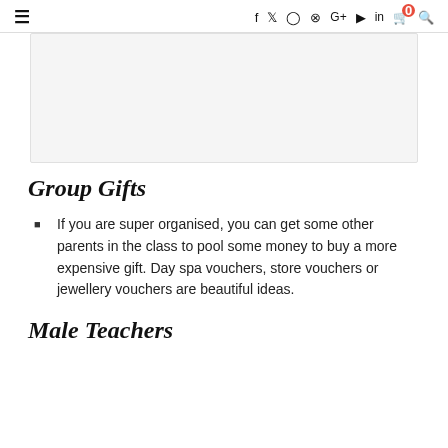≡  f  𝕏  ○  ⊕  G+  ▶  in  🛒⁰  🔍
[Figure (photo): Light gray rectangular image placeholder area]
Group Gifts
If you are super organised, you can get some other parents in the class to pool some money to buy a more expensive gift. Day spa vouchers, store vouchers or jewellery vouchers are beautiful ideas.
Male Teachers